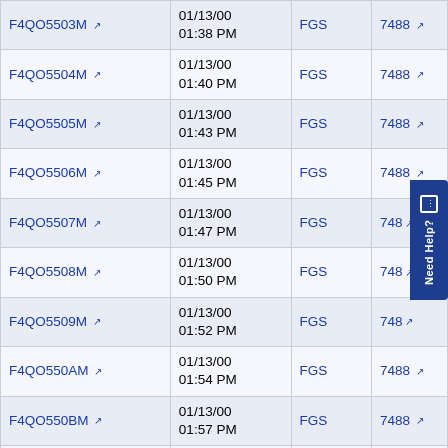| F4QO5503M | 01/13/00 01:38 PM | FGS | 7488 |
| F4QO5504M | 01/13/00 01:40 PM | FGS | 7488 |
| F4QO5505M | 01/13/00 01:43 PM | FGS | 7488 |
| F4QO5506M | 01/13/00 01:45 PM | FGS | 7488 |
| F4QO5507M | 01/13/00 01:47 PM | FGS | 7488 |
| F4QO5508M | 01/13/00 01:50 PM | FGS | 7488 |
| F4QO5509M | 01/13/00 01:52 PM | FGS | 7488 |
| F4QO550AM | 01/13/00 01:54 PM | FGS | 7488 |
| F4QO550BM | 01/13/00 01:57 PM | FGS | 7488 |
| F4QO550CM | 01/13/00 01:59 PM | FGS | 7488 |